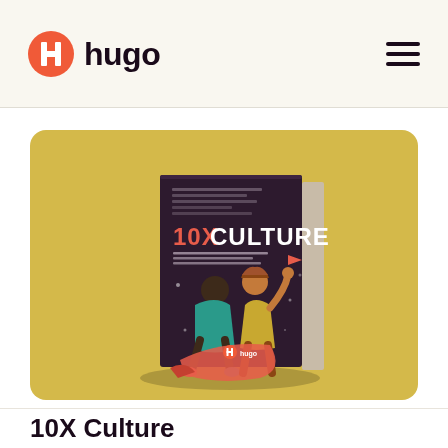[Figure (logo): Hugo logo: circular icon with H letter mark in coral/red color, followed by the word 'hugo' in dark text]
[Figure (illustration): Book cover of '10X Culture' on a yellow/gold background. The book has a dark purple cover with '10X CULTURE' text in red/orange and white, featuring illustrated characters in a dynamic pose. The Hugo logo appears at the bottom of the book spine.]
10X Culture